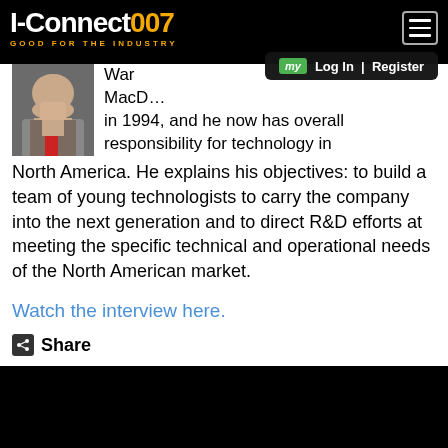I-Connect007 GOOD FOR THE INDUSTRY
my Log In | Register
[Figure (photo): Headshot of a man in a suit and red tie speaking at an event]
MacD... in 1994, and he now has overall responsibility for technology in North America. He explains his objectives: to build a team of young technologists to carry the company into the next generation and to direct R&D efforts at meeting the specific technical and operational needs of the North American market.
Watch the interview here.
Share